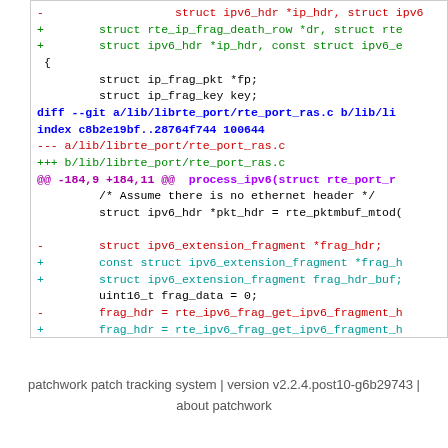[Figure (screenshot): Code diff screenshot showing changes to rte_port_ras.c with red removed lines and green added lines in a monospace code block]
patchwork patch tracking system | version v2.2.4.post10-g6b29743 | about patchwork